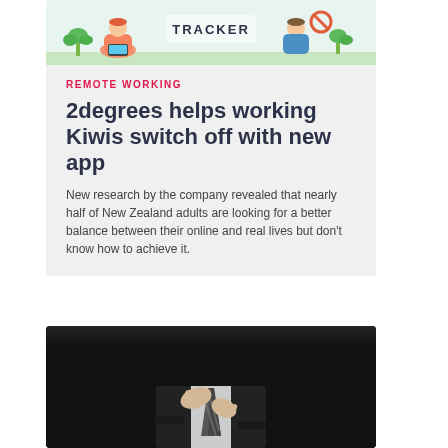[Figure (illustration): Colorful illustration of people working remotely with laptop and plants]
REMOTE WORKING
2degrees helps working Kiwis switch off with new app
New research by the company revealed that nearly half of New Zealand adults are looking for a better balance between their online and real lives but don't know how to achieve it.
[Figure (photo): Black and white photo of a person in a suit adjusting their tie]